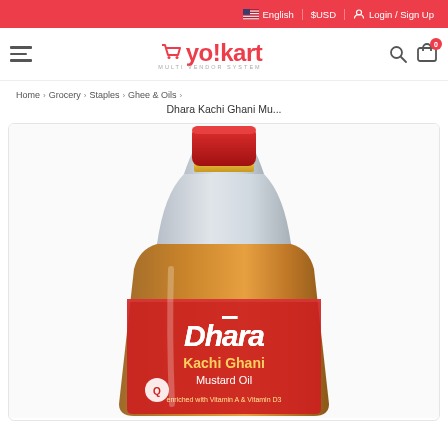English | $USD | Login / Sign Up
[Figure (logo): Yo!kart Multi Vendor System logo with shopping cart icon]
Home > Grocery > Staples > Ghee & Oils > Dhara Kachi Ghani Mu...
[Figure (photo): Dhara Kachi Ghani Mustard Oil bottle with red label, clear PET bottle with red cap]